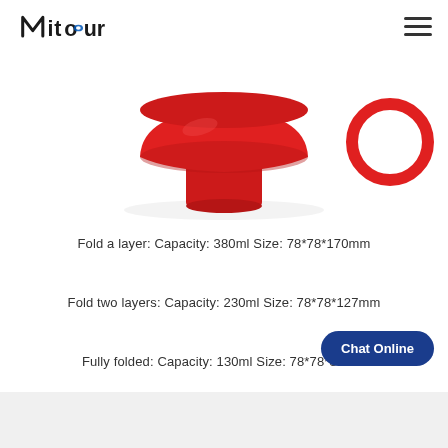Mitour
[Figure (photo): Red silicone collapsible cup/bowl product photo showing the item folded to one layer, displayed on a white background. The cup is red with a wide bowl top and narrow cylindrical base.]
Fold a layer: Capacity: 380ml Size: 78*78*170mm
Fold two layers: Capacity: 230ml Size: 78*78*127mm
Fully folded: Capacity: 130ml Size: 78*78*88mm
[Figure (other): Chat Online button — dark blue rounded pill-shaped button with white text reading 'Chat Online']